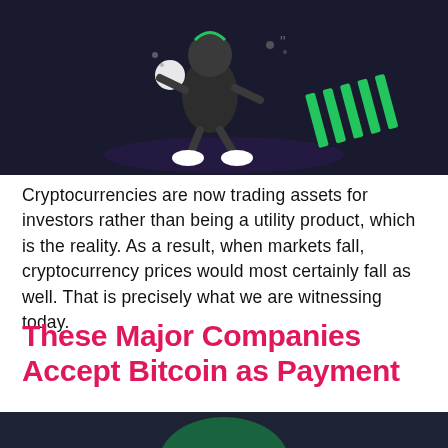[Figure (illustration): Dark background illustration showing an animated character (dark-skinned figure) in action pose, with glowing green elements, white sneakers, and green striped design elements on the right side. Purple/dark navy background.]
Cryptocurrencies are now trading assets for investors rather than being a utility product, which is the reality. As a result, when markets fall, cryptocurrency prices would most certainly fall as well. That is precisely what we are witnessing today.
These Major Companies Accept Bitcoin as Payment
[Figure (illustration): Dark navy background illustration showing a green cloud shape with a green alien-like figure on top holding antenna-like protrusions, with a Bitcoin symbol at the bottom center of the cloud. Bright neon green coloring on dark background.]